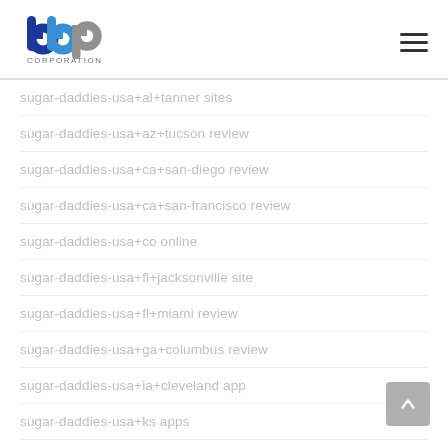BBP Corporation logo and navigation
sugar-daddies-usa+al+tanner sites
sugar-daddies-usa+az+tucson review
sugar-daddies-usa+ca+san-diego review
sugar-daddies-usa+ca+san-francisco review
sugar-daddies-usa+co online
sugar-daddies-usa+fl+jacksonville site
sugar-daddies-usa+fl+miami review
sugar-daddies-usa+ga+columbus review
sugar-daddies-usa+ia+cleveland app
sugar-daddies-usa+ks apps